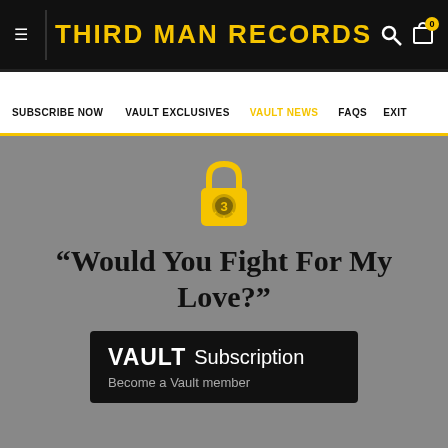THIRD MAN RECORDS
SUBSCRIBE NOW  VAULT EXCLUSIVES  VAULT NEWS  FAQS  Exit
“Would You Fight For My Love?”
[Figure (logo): Yellow padlock icon with radiating lines and the number 3 in center]
VAULT Subscription